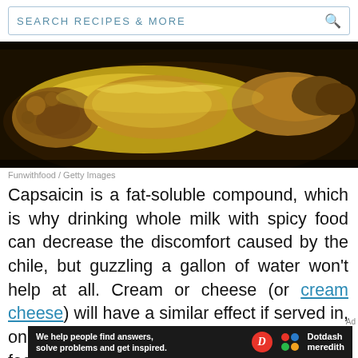SEARCH RECIPES & MORE
[Figure (photo): Close-up photo of a food dish with creamy yellow sauce over meat in a dark pan, food photography]
Funwithfood / Getty Images
Capsaicin is a fat-soluble compound, which is why drinking whole milk with spicy food can decrease the discomfort caused by the chile, but guzzling a gallon of water won't help at all. Cream or cheese (or cream cheese) will have a similar effect if served in, on, or beside your dish, as will other fat-rich foods such as avocado.
[Figure (infographic): Dotdash Meredith advertisement banner: 'We help people find answers, solve problems and get inspired.' with D logo and colorful dots logo]